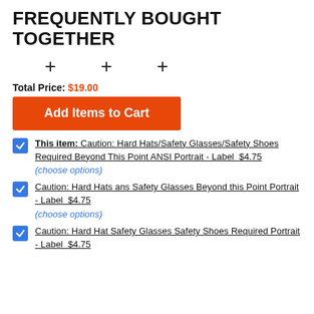FREQUENTLY BOUGHT TOGETHER
[Figure (infographic): Three plus signs arranged horizontally representing items grouped together in a frequently bought together section]
Total Price: $19.00
Add Items to Cart
This item: Caution: Hard Hats/Safety Glasses/Safety Shoes Required Beyond This Point ANSI Portrait - Label  $4.75
(choose options)
Caution: Hard Hats ans Safety Glasses Beyond this Point Portrait - Label  $4.75
(choose options)
Caution: Hard Hat Safety Glasses Safety Shoes Required Portrait - Label  $4.75